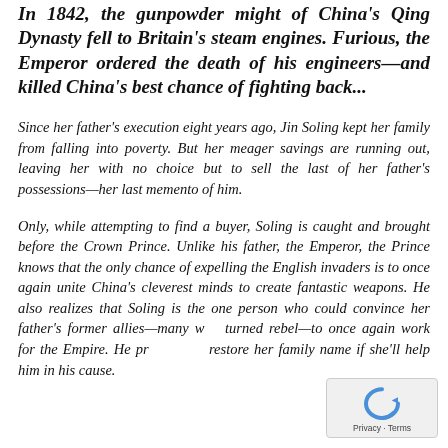In 1842, the gunpowder might of China's Qing Dynasty fell to Britain's steam engines. Furious, the Emperor ordered the death of his engineers—and killed China's best chance of fighting back...
Since her father's execution eight years ago, Jin Soling kept her family from falling into poverty. But her meager savings are running out, leaving her with no choice but to sell the last of her father's possessions—her last memento of him.
Only, while attempting to find a buyer, Soling is caught and brought before the Crown Prince. Unlike his father, the Emperor, the Prince knows that the only chance of expelling the English invaders is to once again unite China's cleverest minds to create fantastic weapons. He also realizes that Soling is the one person who could convince her father's former allies—many who turned rebel—to once again work for the Empire. He pro restore her family name if she'll help him in his cause.
[Figure (other): reCAPTCHA widget overlay in bottom-right corner with circular arrow icon and 'Privacy - Terms' text]